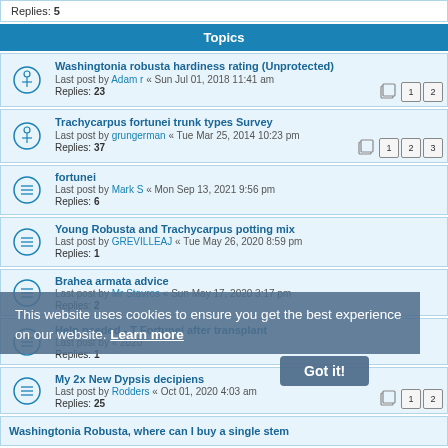Replies: 5
Topics
Washingtonia robusta hardiness rating (Unprotected)
Last post by Adam r « Sun Jul 01, 2018 11:41 am
Replies: 23
Trachycarpus fortunei trunk types Survey
Last post by grungerman « Tue Mar 25, 2014 10:23 pm
Replies: 37
fortunei
Last post by Mark S « Mon Sep 13, 2021 9:56 pm
Replies: 6
Young Robusta and Trachycarpus potting mix
Last post by GREVILLEAJ « Tue May 26, 2020 8:59 pm
Replies: 1
Brahea armata advice
Last post by Mr Stavros « Sun May 17, 2020 3:17 pm
Replies: 2
Help needed - T Fortunei after transplant
Last post by « 2020
Replies: 1
My 2x New Dypsis decipiens
Last post by Rodders « Oct 01, 2020 4:03 am
Replies: 25
This website uses cookies to ensure you get the best experience on our website. Learn more
Got it!
Washingtonia Robusta, where can I buy a single stem